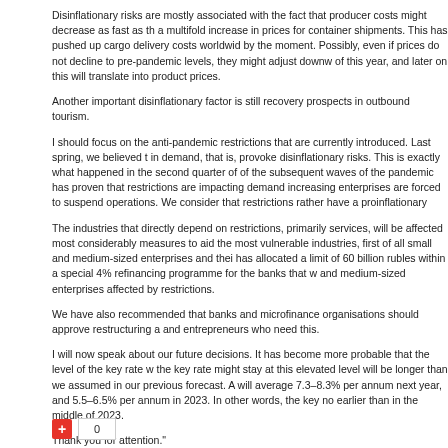Disinflationary risks are mostly associated with the fact that producer costs might decrease as fast as the a multifold increase in prices for container shipments. This has pushed up cargo delivery costs worldwide by the moment. Possibly, even if prices do not decline to pre-pandemic levels, they might adjust downw of this year, and later on this will translate into product prices.
Another important disinflationary factor is still recovery prospects in outbound tourism.
I should focus on the anti-pandemic restrictions that are currently introduced. Last spring, we believed t in demand, that is, provoke disinflationary risks. This is exactly what happened in the second quarter of of the subsequent waves of the pandemic has proven that restrictions are impacting demand increasing enterprises are forced to suspend operations. We consider that restrictions rather have a proinflationary
The industries that directly depend on restrictions, primarily services, will be affected most considerably measures to aid the most vulnerable industries, first of all small and medium-sized enterprises and thei has allocated a limit of 60 billion rubles within a special 4% refinancing programme for the banks that w and medium-sized enterprises affected by restrictions.
We have also recommended that banks and microfinance organisations should approve restructuring a and entrepreneurs who need this.
I will now speak about our future decisions. It has become more probable that the level of the key rate w the key rate might stay at this elevated level will be longer than we assumed in our previous forecast. A will average 7.3–8.3% per annum next year, and 5.5–6.5% per annum in 2023. In other words, the key no earlier than in the middle of 2023.
Thank you for attention."
www.CentralBankNews.info